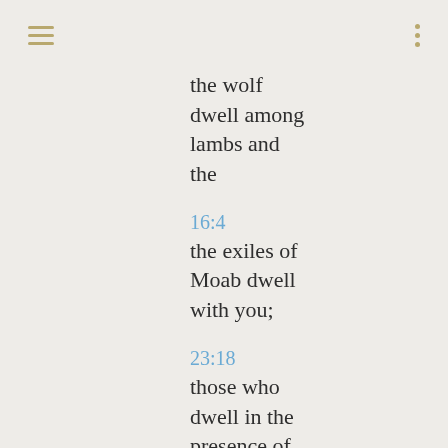≡  ⋮
the wolf dwell among lambs and the
16:4
the exiles of Moab dwell with you;
23:18
those who dwell in the presence of
24:6
those who dwell on it have incurred
32:18
shall dwell in a peaceful